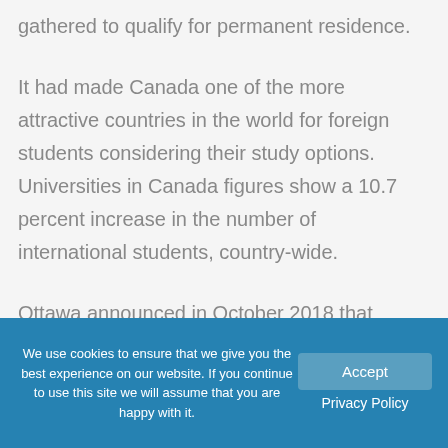gathered to qualify for permanent residence.
It had made Canada one of the more attractive countries in the world for foreign students considering their study options. Universities in Canada figures show a 10.7 percent increase in the number of international students, country-wide.
Ottawa announced in October 2018 that
We use cookies to ensure that we give you the best experience on our website. If you continue to use this site we will assume that you are happy with it.